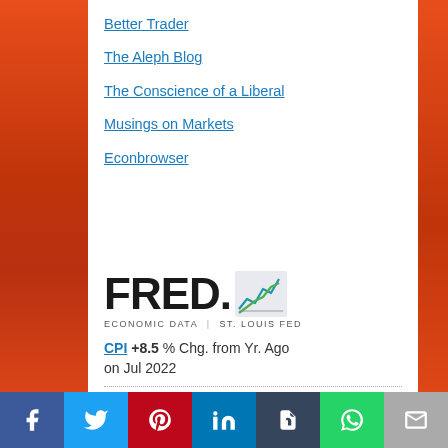Better Trader
The Aleph Blog
The Conscience of a Liberal
Musings on Markets
Econbrowser
[Figure (logo): FRED Economic Data | St. Louis Fed logo with line chart icon]
CPI +8.5 % Chg. from Yr. Ago on Jul 2022
Civ. Unemploy. Rate 3.5 % on Jul 2022
Facebook | Twitter | Pinterest | LinkedIn | Tumblr | WhatsApp | Email social share bar